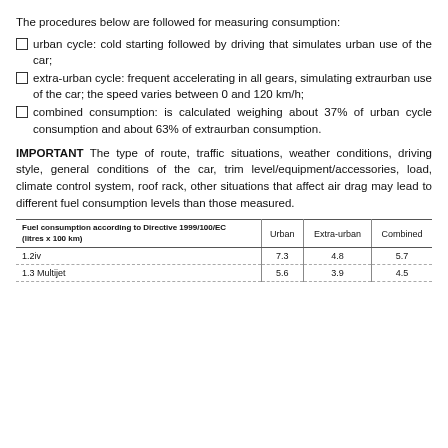The procedures below are followed for measuring consumption:
urban cycle: cold starting followed by driving that simulates urban use of the car;
extra-urban cycle: frequent accelerating in all gears, simulating extraurban use of the car; the speed varies between 0 and 120 km/h;
combined consumption: is calculated weighing about 37% of urban cycle consumption and about 63% of extraurban consumption.
IMPORTANT The type of route, traffic situations, weather conditions, driving style, general conditions of the car, trim level/equipment/accessories, load, climate control system, roof rack, other situations that affect air drag may lead to different fuel consumption levels than those measured.
| Fuel consumption according to Directive 1999/100/EC
(litres x 100 km) | Urban | Extra-urban | Combined |
| --- | --- | --- | --- |
| 1.2iv | 7.3 | 4.8 | 5.7 |
| 1.3 Multijet | 5.6 | 3.9 | 4.5 |